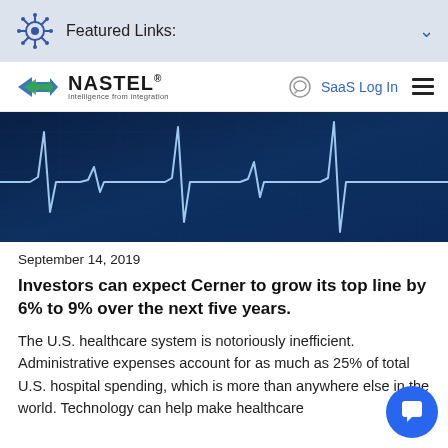Featured Links:
[Figure (logo): Nastel Technologies logo with tagline 'Intelligence from integration']
[Figure (photo): Blue ECG/heartbeat monitor waveform on dark blue background]
September 14, 2019
Investors can expect Cerner to grow its top line by 6% to 9% over the next five years.
The U.S. healthcare system is notoriously inefficient. Administrative expenses account for as much as 25% of total U.S. hospital spending, which is more than anywhere else in the world. Technology can help make healthcare